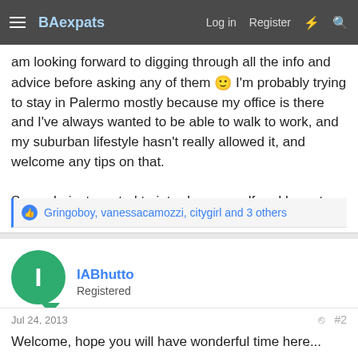BAexpats — Log in | Register
am looking forward to digging through all the info and advice before asking any of them 🙂 I'm probably trying to stay in Palermo mostly because my office is there and I've always wanted to be able to walk to work, and my suburban lifestyle hasn't really allowed it, and welcome any tips on that.

So yeah, just wanted to introduce myself and hope to meet some interesting people.
Gringoboy, vanessacamozzi, citygirl and 3 others
IABhutto
Registered
Jul 24, 2013  #2
Welcome, hope you will have wonderful time here...